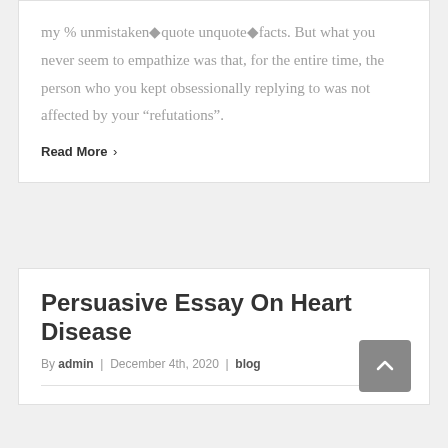my % unmistaken◆quote unquote◆facts. But what you never seem to empathize was that, for the entire time, the person who you kept obsessionally replying to was not affected by your "refutations".
Read More >
Persuasive Essay On Heart Disease
By admin | December 4th, 2020 | blog